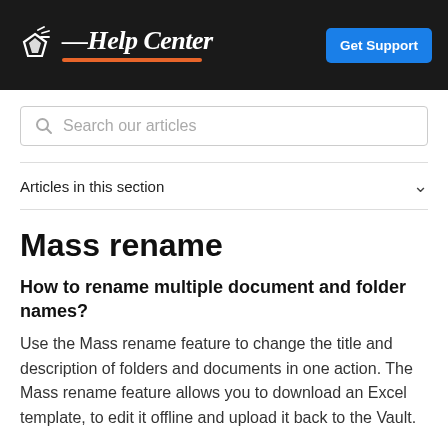Help Center | Get Support
[Figure (screenshot): Help Center logo with white icon and italic text on black background, with orange underline and blue Get Support button]
Search our articles
Articles in this section
Mass rename
How to rename multiple document and folder names?
Use the Mass rename feature to change the title and description of folders and documents in one action. The Mass rename feature allows you to download an Excel template, to edit it offline and upload it back to the Vault.